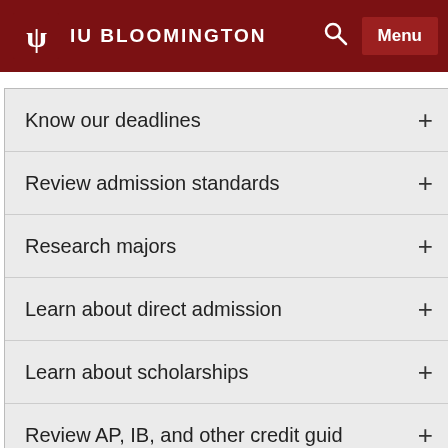IU BLOOMINGTON
Know our deadlines
Review admission standards
Research majors
Learn about direct admission
Learn about scholarships
Review AP, IB, and other credit guid…
Calculate any transfer credits
Find Jacobs School of Music